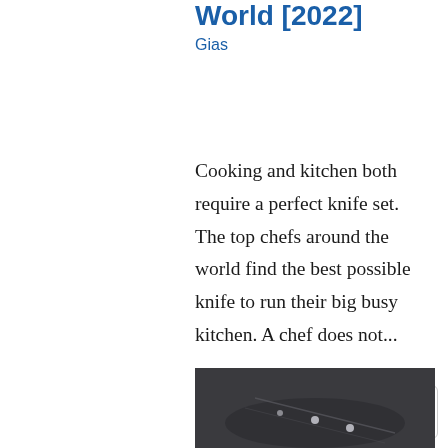World [2022]
Gias
Cooking and kitchen both require a perfect knife set. The top chefs around the world find the best possible knife to run their big busy kitchen. A chef does not...
Read more
[Figure (photo): Dark photograph of kitchen knives with metallic surfaces visible at the bottom of the page]